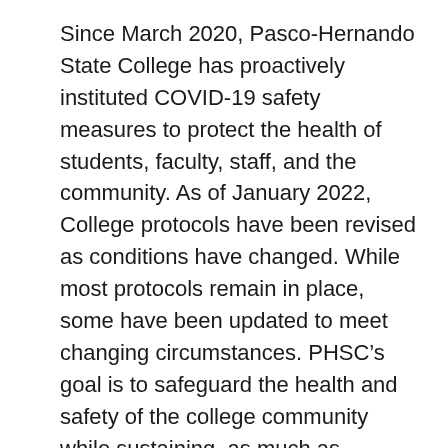Since March 2020, Pasco-Hernando State College has proactively instituted COVID-19 safety measures to protect the health of students, faculty, staff, and the community. As of January 2022, College protocols have been revised as conditions have changed. While most protocols remain in place, some have been updated to meet changing circumstances. PHSC's goal is to safeguard the health and safety of the college community while sustaining, as much as possible, a normal collegiate and work experience.
COVID-19 Protocols: Updated August 2022 (currently under construction)